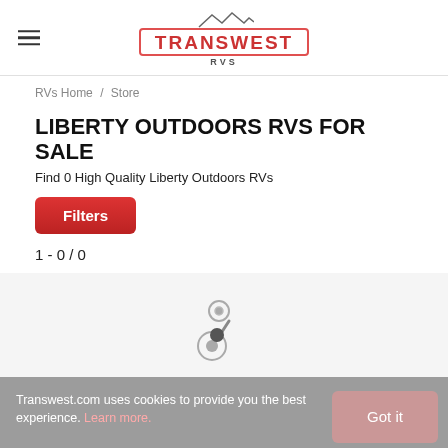[Figure (logo): Transwest RVS logo with mountain graphic and red border]
RVs Home / Store
LIBERTY OUTDOORS RVS FOR SALE
Find 0 High Quality Liberty Outdoors RVs
Filters
1 - 0 / 0
[Figure (illustration): Empty search results area with a gear/spinner animation icon]
Transwest.com uses cookies to provide you the best experience. Learn more.
Got it
We don't have any liberty